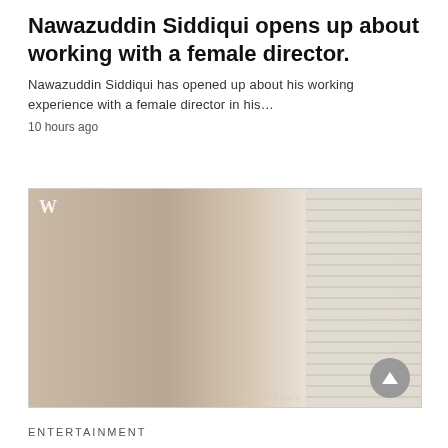Nawazuddin Siddiqui opens up about working with a female director.
Nawazuddin Siddiqui has opened up about his working experience with a female director in his…
10 hours ago
[Figure (photo): A woman in a decorative red and gold embellished outfit posing near window blinds. A watermark 'W' appears in the top left and 'WEDDING VOWS' appears at the bottom right of the image.]
ENTERTAINMENT